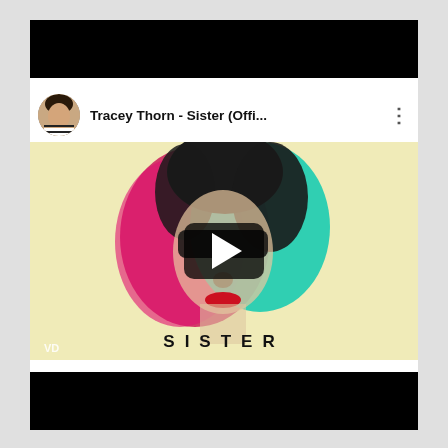[Figure (screenshot): YouTube video thumbnail/player screenshot showing Tracey Thorn - Sister (Offi... video. The player header shows a circular avatar photo of Tracey Thorn, the video title 'Tracey Thorn - Sister (Offi...' and a three-dot menu icon. The thumbnail shows the SISTER album art: a woman's face with colorful psychedelic overlays in red, magenta, teal, and black, with the word 'SISTER' in bold spaced letters at the bottom. A YouTube play button (dark rounded rectangle with white triangle) is overlaid in the center. A VEVO watermark appears bottom-left. Black bars appear at top and bottom of the overall screenshot.]